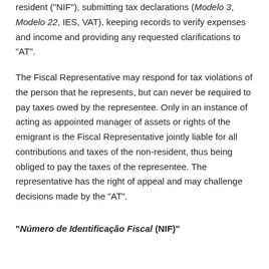resident ("NIF"), submitting tax declarations (Modelo 3, Modelo 22, IES, VAT), keeping records to verify expenses and income and providing any requested clarifications to "AT".
The Fiscal Representative may respond for tax violations of the person that he represents, but can never be required to pay taxes owed by the representee. Only in an instance of acting as appointed manager of assets or rights of the emigrant is the Fiscal Representative jointly liable for all contributions and taxes of the non-resident, thus being obliged to pay the taxes of the representee. The representative has the right of appeal and may challenge decisions made by the "AT".
"Número de Identificação Fiscal (NIF)"